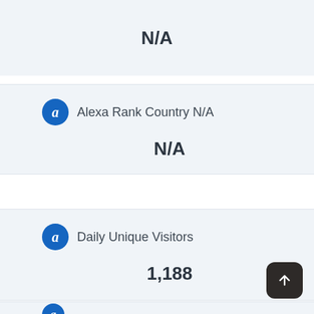N/A
Alexa Rank Country N/A
N/A
Daily Unique Visitors
1,188